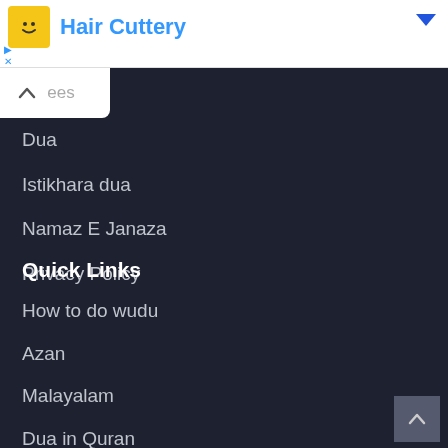[Figure (screenshot): Advertisement banner for Hair Cuttery with yellow smiley face icon, blue text, and a blue dropdown arrow on the right]
ees
Dua
Istikhara dua
Namaz E Janaza
Privacy Policy
Quick Links
How to do wudu
Azan
Malayalam
Dua in Quran
Articles
Islamic Calendar
Dhu Al-Hijjah